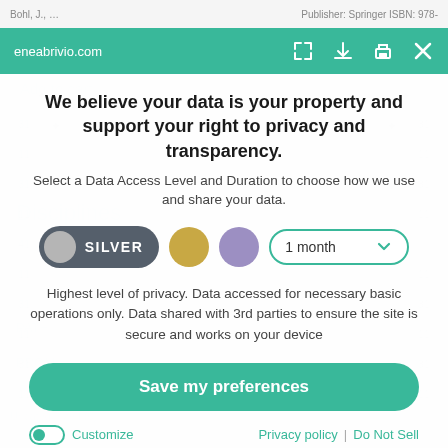Bohl, J., ...   Publisher: Springer ISBN: 978-...
eneabrivio.com
We believe your data is your property and support your right to privacy and transparency.
Select a Data Access Level and Duration to choose how we use and share your data.
[Figure (infographic): Privacy level selector row with Silver pill button, gold circle, purple circle, and 1 month dropdown]
Highest level of privacy. Data accessed for necessary basic operations only. Data shared with 3rd parties to ensure the site is secure and works on your device
Save my preferences
Customize   Privacy policy  |  Do Not Sell